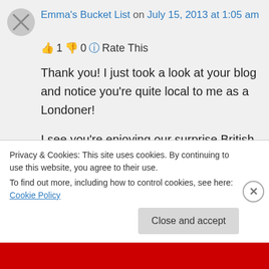Emma's Bucket List on July 15, 2013 at 1:05 am
👍 1 👎 0 ℹ Rate This
Thank you! I just took a look at your blog and notice you're quite local to me as a Londoner!
I see you're enjoying our surprise British summer too… Glorious isn't it?!
Privacy & Cookies: This site uses cookies. By continuing to use this website, you agree to their use.
To find out more, including how to control cookies, see here: Cookie Policy
Close and accept